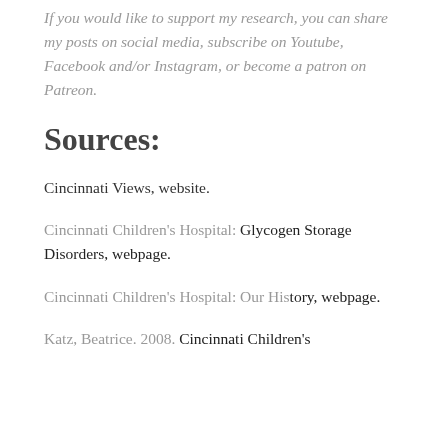If you would like to support my research, you can share my posts on social media, subscribe on Youtube, Facebook and/or Instagram, or become a patron on Patreon.
Sources:
Cincinnati Views, website.
Cincinnati Children's Hospital: Glycogen Storage Disorders, webpage.
Cincinnati Children's Hospital: Our History, webpage.
Katz, Beatrice. 2008. Cincinnati Children's